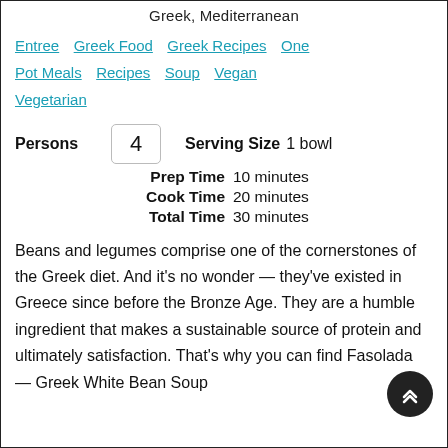Greek, Mediterranean
Entree   Greek Food   Greek Recipes   One Pot Meals   Recipes   Soup   Vegan   Vegetarian
Persons  4  Serving Size  1 bowl
Prep Time  10 minutes
Cook Time  20 minutes
Total Time  30 minutes
Beans and legumes comprise one of the cornerstones of the Greek diet. And it's no wonder — they've existed in Greece since before the Bronze Age. They are a humble ingredient that makes a sustainable source of protein and ultimately satisfaction. That's why you can find Fasolada — Greek White Bean Soup